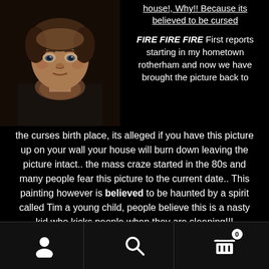[Figure (photo): Painting of a sad-looking young boy with dark clothing, rendered in muted warm tones on dark background — the 'Crying Boy' painting]
house!, Why!! Because its believed to be cursed
FIRE FIRE FIRE First reports starting in my hometown rotherham and now we have brought the picture back to the curses birth place, its alleged if you have this picture up on your wall your house will burn down leaving the picture intact.. the mass craze started in the 80s and many people fear this picture to the current date.. This painting however is believed to be haunted by a spirit called Tim a young child, people believe this is a nasty kid who kicks people when they are sleeping!!!
User icon | Search icon | Cart icon with badge 0